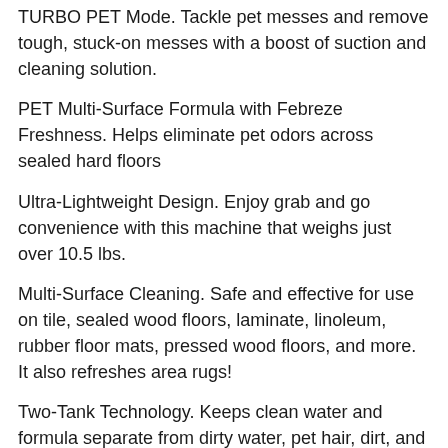TURBO PET Mode. Tackle pet messes and remove tough, stuck-on messes with a boost of suction and cleaning solution.
PET Multi-Surface Formula with Febreze Freshness. Helps eliminate pet odors across sealed hard floors
Ultra-Lightweight Design. Enjoy grab and go convenience with this machine that weighs just over 10.5 lbs.
Multi-Surface Cleaning. Safe and effective for use on tile, sealed wood floors, laminate, linoleum, rubber floor mats, pressed wood floors, and more. It also refreshes area rugs!
Two-Tank Technology. Keeps clean water and formula separate from dirty water, pet hair, dirt, and debris.
Self-Cleaning Cycle. Easily maintain and maximize your machine’s cleaning performance.
Certain trademarks used under license from The Procter & Gamble Company or its affiliates.